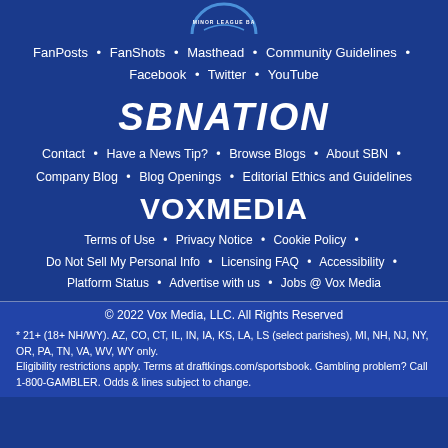[Figure (logo): Minor League Baseball circular logo at top, partially cropped]
FanPosts • FanShots • Masthead • Community Guidelines • Facebook • Twitter • YouTube
SBNATION
Contact • Have a News Tip? • Browse Blogs • About SBN • Company Blog • Blog Openings • Editorial Ethics and Guidelines
VOXMEDIA
Terms of Use • Privacy Notice • Cookie Policy • Do Not Sell My Personal Info • Licensing FAQ • Accessibility • Platform Status • Advertise with us • Jobs @ Vox Media
© 2022 Vox Media, LLC. All Rights Reserved
* 21+ (18+ NH/WY). AZ, CO, CT, IL, IN, IA, KS, LA, LS (select parishes), MI, NH, NJ, NY, OR, PA, TN, VA, WV, WY only. Eligibility restrictions apply. Terms at draftkings.com/sportsbook. Gambling problem? Call 1-800-GAMBLER. Odds & lines subject to change.